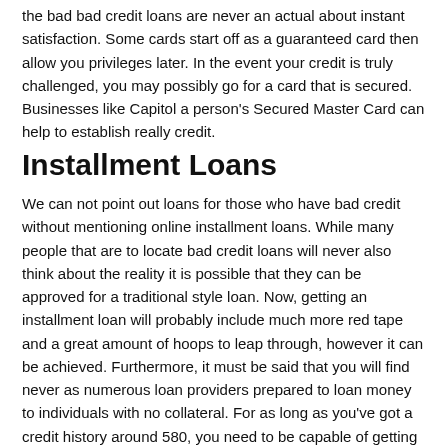the bad bad credit loans are never an actual about instant satisfaction. Some cards start off as a guaranteed card then allow you privileges later. In the event your credit is truly challenged, you may possibly go for a card that is secured. Businesses like Capitol a person's Secured Master Card can help to establish really credit.
Installment Loans
We can not point out loans for those who have bad credit without mentioning online installment loans. While many people that are to locate bad credit loans will never also think about the reality it is possible that they can be approved for a traditional style loan. Now, getting an installment loan will probably include much more red tape and a great amount of hoops to leap through, however it can be achieved. Furthermore, it must be said that you will find never as numerous loan providers prepared to loan money to individuals with no collateral. For as long as you've got a credit history around 580, you need to be capable of getting one thing. Companies noted for having records that are good bad credit borrowers are Avant, One principal, and Upstart.
Finding the mortgage Perfect For You